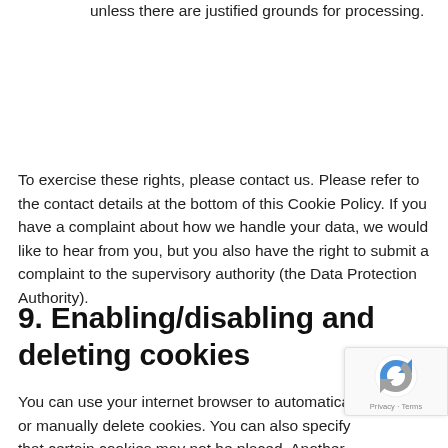unless there are justified grounds for processing.
To exercise these rights, please contact us. Please refer to the contact details at the bottom of this Cookie Policy. If you have a complaint about how we handle your data, we would like to hear from you, but you also have the right to submit a complaint to the supervisory authority (the Data Protection Authority).
9. Enabling/disabling and deleting cookies
You can use your internet browser to automatica or manually delete cookies. You can also specify that certain cookies may not be placed. Another